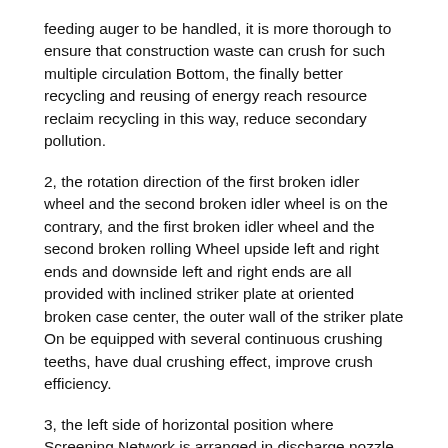feeding auger to be handled, it is more thorough to ensure that construction waste can crush for such multiple circulation Bottom, the finally better recycling and reusing of energy reach resource reclaim recycling in this way, reduce secondary pollution.
2, the rotation direction of the first broken idler wheel and the second broken idler wheel is on the contrary, and the first broken idler wheel and the second broken rolling Wheel upside left and right ends and downside left and right ends are all provided with inclined striker plate at oriented broken case center, the outer wall of the striker plate On be equipped with several continuous crushing teeths, have dual crushing effect, improve crush efficiency.
3, the left side of horizontal position where Screening Network is arranged in discharge nozzle and the inside of the discharge port of discharge nozzle and material storing box It communicates, meets the waste material of partial size by falling on material outlet under Screening Network, the waste material for not meeting partial size flows back into storage through discharge nozzle Processing is re-started in hopper, and discharge nozzle is equipped with